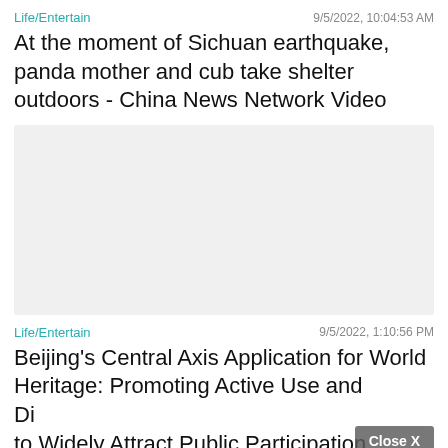Life/Entertain   9/5/2022, 10:04:53 AM
At the moment of Sichuan earthquake, panda mother and cub take shelter outdoors - China News Network Video
[Figure (other): Light gray video placeholder rectangle]
Life/Entertain   9/5/2022, 1:10:56 PM
Beijing's Central Axis Application for World Heritage: Promoting Active Use and Display to Widely Attract Public Participation